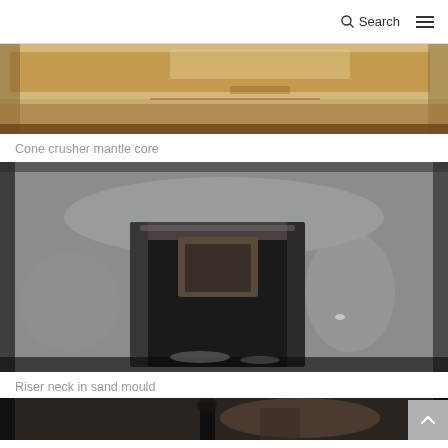Search
[Figure (photo): Top portion of a sand mould or core box for a cone crusher mantle core, showing sandy/wooden interior — partially cropped at top of page.]
Cone crusher mantle core
[Figure (photo): Close-up photograph of a riser neck cavity inside a sand mould. The square recessed opening is surrounded by grey sand casting material.]
Riser neck in sand mould
[Figure (photo): Partially visible third photograph showing a foundry/casting scene, cropped at the bottom of the page.]